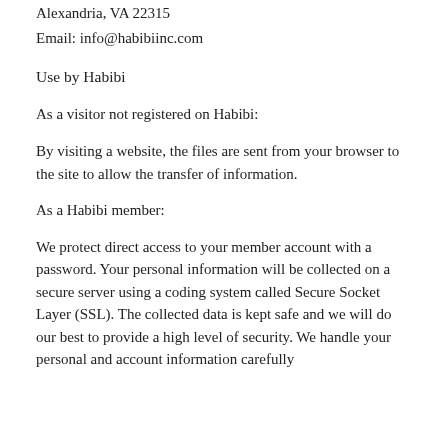Alexandria, VA 22315
Email: info@habibiinc.com
Use by Habibi
As a visitor not registered on Habibi:
By visiting a website, the files are sent from your browser to the site to allow the transfer of information.
As a Habibi member:
We protect direct access to your member account with a password. Your personal information will be collected on a secure server using a coding system called Secure Socket Layer (SSL). The collected data is kept safe and we will do our best to provide a high level of security. We handle your personal and account information carefully